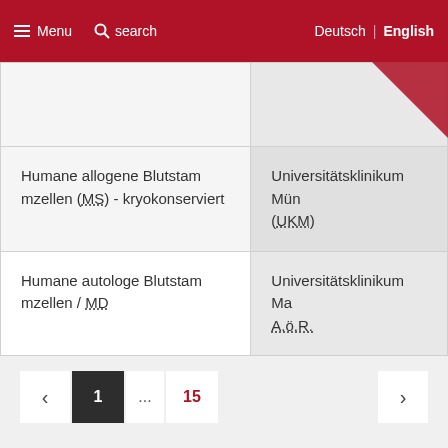Menu  search  Deutsch | English
|  |  |
| --- | --- |
|  |  |
| Humane allogene Blutstammzellen (MS) - kryokonserviert | Universitätsklinikum Münster (UKM) |
| Humane autologe Blutstammzellen / MD | Universitätsklinikum Magdeburg A.ö.R. |
‹  1  ...  15  ›